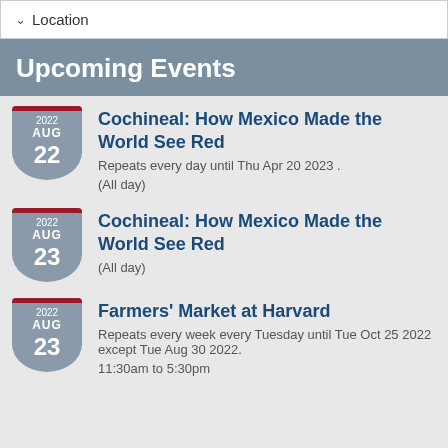Location
Upcoming Events
Cochineal: How Mexico Made the World See Red
Repeats every day until Thu Apr 20 2023 .
(All day)
Cochineal: How Mexico Made the World See Red
(All day)
Farmers' Market at Harvard
Repeats every week every Tuesday until Tue Oct 25 2022 except Tue Aug 30 2022.
11:30am to 5:30pm